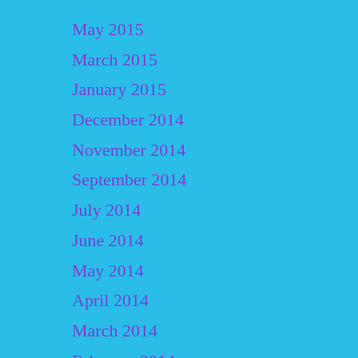May 2015
March 2015
January 2015
December 2014
November 2014
September 2014
July 2014
June 2014
May 2014
April 2014
March 2014
February 2014
January 2014
December 2013